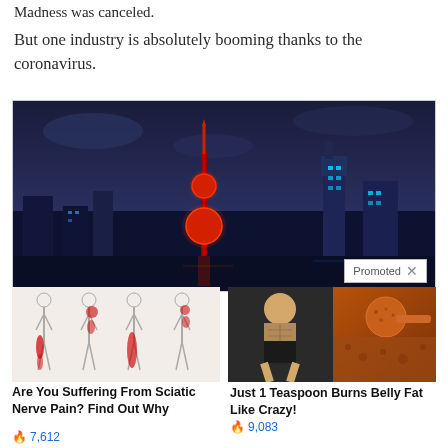Madness was canceled.
But one industry is absolutely booming thanks to the coronavirus.
[Figure (photo): Nighttime cityscape of Shanghai with the Oriental Pearl Tower lit in red and blue city lights, with a 'Promoted X' badge overlay in bottom right]
[Figure (photo): Medical illustration showing sciatic nerve pain locations on human body silhouettes with red highlighted pain areas]
Are You Suffering From Sciatic Nerve Pain? Find Out Why
🔥 7,612
[Figure (photo): Fitness photo of woman showing abs next to a close-up of a spoon with brown spice/powder]
Just 1 Teaspoon Burns Belly Fat Like Crazy!
🔥 9,083